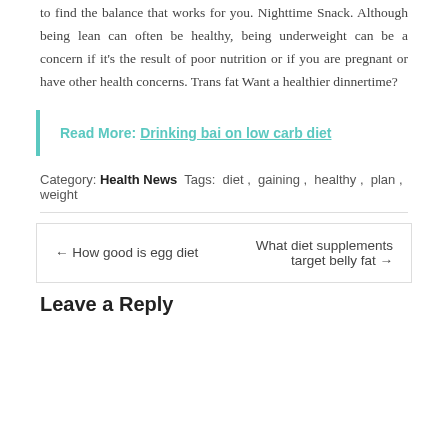to find the balance that works for you. Nighttime Snack. Although being lean can often be healthy, being underweight can be a concern if it’s the result of poor nutrition or if you are pregnant or have other health concerns. Trans fat Want a healthier dinnertime?
Read More: Drinking bai on low carb diet
Category: Health News  Tags:  diet ,  gaining ,  healthy ,  plan ,  weight
← How good is egg diet
What diet supplements target belly fat →
Leave a Reply